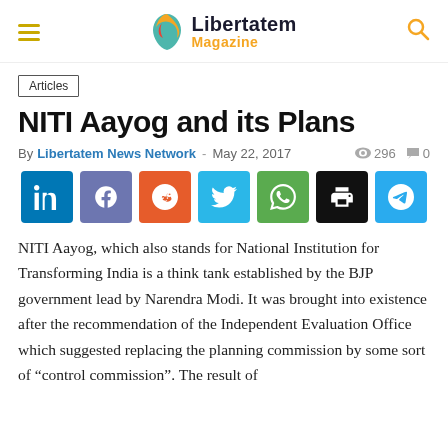Libertatem Magazine
Articles
NITI Aayog and its Plans
By Libertatem News Network – May 22, 2017   296  0
[Figure (infographic): Social sharing buttons: LinkedIn, Facebook, Reddit, Twitter, WhatsApp, Print, Telegram]
NITI Aayog, which also stands for National Institution for Transforming India is a think tank established by the BJP government lead by Narendra Modi. It was brought into existence after the recommendation of the Independent Evaluation Office which suggested replacing the planning commission by some sort of "control commission". The result of